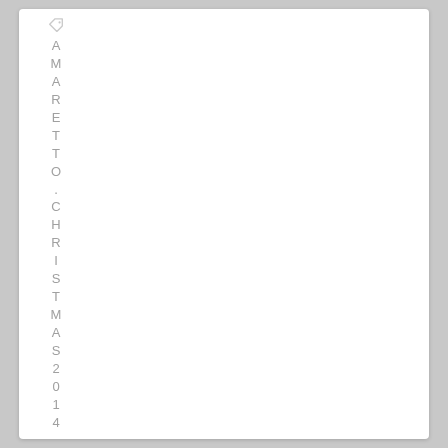AMARETTO . CHRISTMAS 2014 . DIY . E...